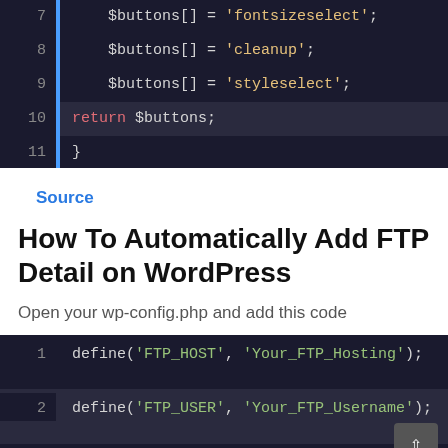[Figure (screenshot): Code editor showing PHP lines 7-12: $buttons[] assignments for 'fontsizeselect', 'cleanup', 'styleselect', return $buttons, closing brace, and add_filter call]
Source
How To Automatically Add FTP Detail on WordPress
Open your wp-config.php and add this code
[Figure (screenshot): Code editor showing PHP lines 1-3: define('FTP_HOST', 'Your_FTP_Hosting'); define('FTP_USER', 'Your_FTP_Username'); define('FTP_PASS', 'Your_FTP_Password');]